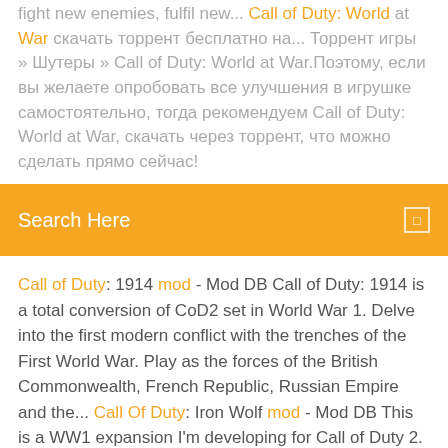fight new enemies, fulfil new... Call of Duty: World at War скачать торрент бесплатно на... Торрент игры » Шутеры » Call of Duty: World at War.Поэтому, если вы желаете опробовать все улучшения в игрушке самостоятельно, тогда рекомендуем Call of Duty: World at War, скачать через торрент, что можно сделать прямо сейчас!
Search Here
Call of Duty: 1914 mod - Mod DB Call of Duty: 1914 is a total conversion of CoD2 set in World War 1. Delve into the first modern conflict with the trenches of the First World War. Play as the forces of the British Commonwealth, French Republic, Russian Empire and the... Call Of Duty: Iron Wolf mod - Mod DB This is a WW1 expansion I'm developing for Call of Duty 2. I've completed the first map, just a sandbox mission. The uniforms and weapons are mostly WW2 (Bolt action weapons though), but i will look into reskinning. Call of Duty: Infinite Warfare